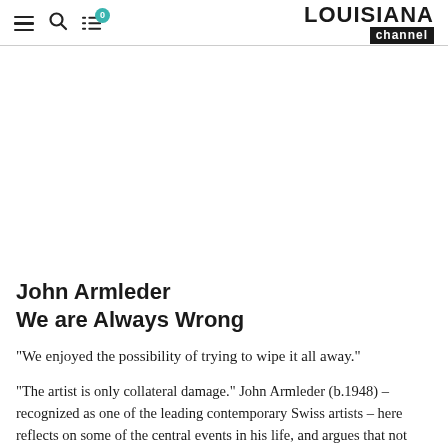LOUISIANA channel
[Figure (other): Video player placeholder area (blank white space where a video would be embedded)]
John Armleder
We are Always Wrong
“We enjoyed the possibility of trying to wipe it all away.”
“The artist is only collateral damage.” John Armleder (b.1948) – recognized as one of the leading contemporary Swiss artists – here reflects on some of the central events in his life, and argues that not